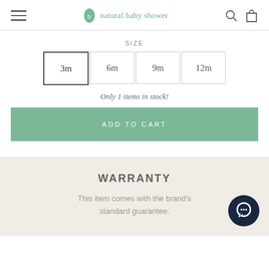natural baby shower
SIZE
3m  6m  9m  12m
Only 1 items in stock!
ADD TO CART
WARRANTY
This item comes with the brand's standard guarantee.